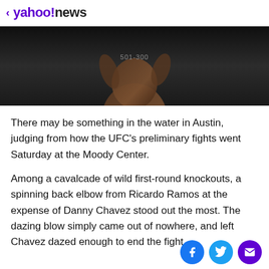< yahoo!news
[Figure (photo): Dark background photo of a shirtless male fighter, torso visible, with watermark text '501-300']
There may be something in the water in Austin, judging from how the UFC's preliminary fights went Saturday at the Moody Center.
Among a cavalcade of wild first-round knockouts, a spinning back elbow from Ricardo Ramos at the expense of Danny Chavez stood out the most. The dazing blow simply came out of nowhere, and left Chavez dazed enough to end the fight.